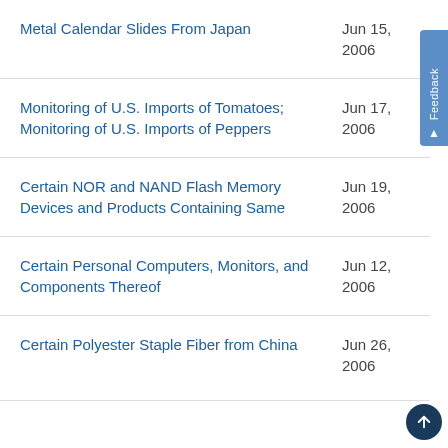Metal Calendar Slides From Japan
Monitoring of U.S. Imports of Tomatoes; Monitoring of U.S. Imports of Peppers
Certain NOR and NAND Flash Memory Devices and Products Containing Same
Certain Personal Computers, Monitors, and Components Thereof
Certain Polyester Staple Fiber from China